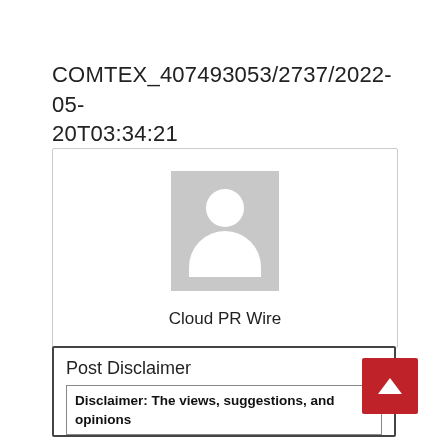COMTEX_407493053/2737/2022-05-20T03:34:21
[Figure (other): Profile placeholder image with silhouette avatar icon and label 'Cloud PR Wire' below]
Post Disclaimer
Disclaimer: The views, suggestions, and opinions